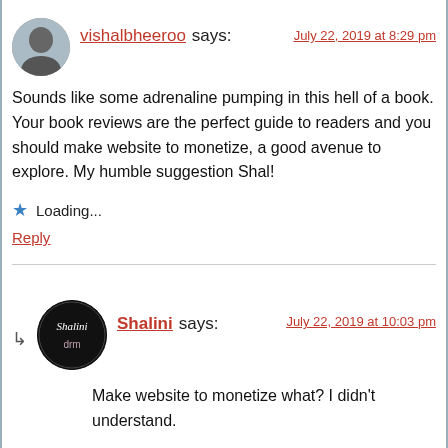vishalbheeroo says: [July 22, 2019 at 8:29 pm] Sounds like some adrenaline pumping in this hell of a book. Your book reviews are the perfect guide to readers and you should make website to monetize, a good avenue to explore. My humble suggestion Shal! Loading... Reply
Shalini says: [July 22, 2019 at 10:03 pm] Make website to monetize what? I didn't understand. Loading... Reply